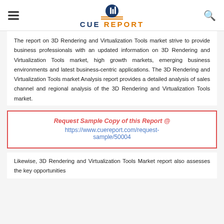CUE REPORT
The report on 3D Rendering and Virtualization Tools market strive to provide business professionals with an updated information on 3D Rendering and Virtualization Tools market, high growth markets, emerging business environments and latest business-centric applications. The 3D Rendering and Virtualization Tools market Analysis report provides a detailed analysis of sales channel and regional analysis of the 3D Rendering and Virtualization Tools market.
Request Sample Copy of this Report @ https://www.cuereport.com/request-sample/50004
Likewise, 3D Rendering and Virtualization Tools Market report also assesses the key opportunities